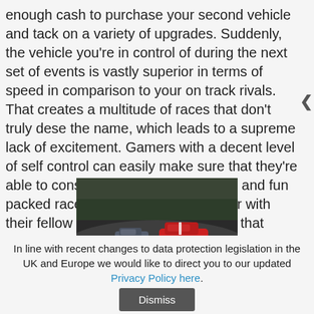enough cash to purchase your second vehicle and tack on a variety of upgrades. Suddenly, the vehicle you're in control of during the next set of events is vastly superior in terms of speed in comparison to your on track rivals. That creates a multitude of races that don't truly dese the name, which leads to a supreme lack of excitement. Gamers with a decent level of self control can easily make sure that they're able to consistently compete in hectic and fun packed races by choosing cars on par with their fellow racers. But there's always that knowledge that a quick trip to the GT Auto shop can almost guarantee a first place finish and a shiny gold cup.
[Figure (photo): Racing cars on a track — two racing cars (one grey/blue, one red) competing on a circuit, viewed from behind]
In line with recent changes to data protection legislation in the UK and Europe we would like to direct you to our updated Privacy Policy here.